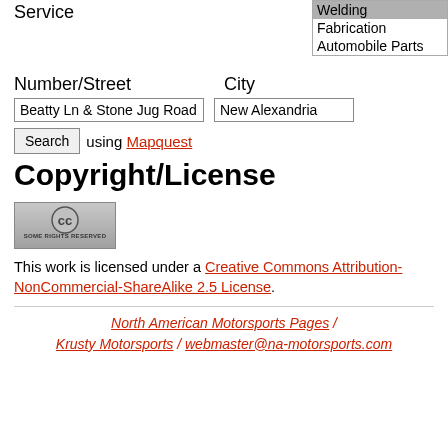Service
[Figure (screenshot): Dropdown list showing Welding (selected/highlighted), Fabrication, Automobile Parts]
Number/Street
City
Beatty Ln & Stone Jug Road (text input)
New Alexandria (text input)
Search using Mapquest
Copyright/License
[Figure (logo): Creative Commons Some Rights Reserved badge]
This work is licensed under a Creative Commons Attribution-NonCommercial-ShareAlike 2.5 License.
North American Motorsports Pages / Krusty Motorsports / webmaster@na-motorsports.com